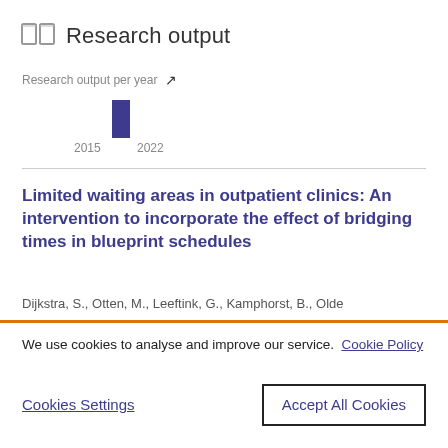Research output
Research output per year
[Figure (bar-chart): Research output per year]
Limited waiting areas in outpatient clinics: An intervention to incorporate the effect of bridging times in blueprint schedules
Dijkstra, S., Otten, M., Leeftink, G., Kamphorst, B., Olde
We use cookies to analyse and improve our service. Cookie Policy
Cookies Settings
Accept All Cookies